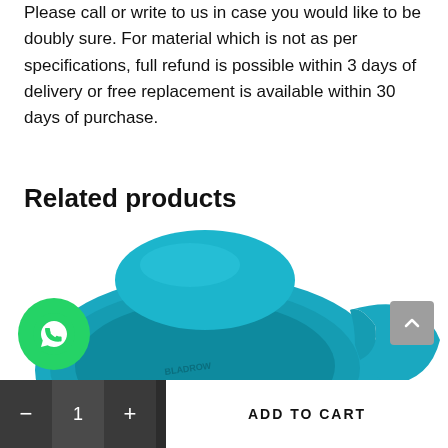Please call or write to us in case you would like to be doubly sure. For material which is not as per specifications, full refund is possible within 3 days of delivery or free replacement is available within 30 days of purchase.
Related products
[Figure (photo): A teal/blue water bottle lid product photo, showing the top and handle of a plastic bottle cap with BLADROW branding]
[Figure (logo): WhatsApp green circular button icon]
- 1 + ADD TO CART